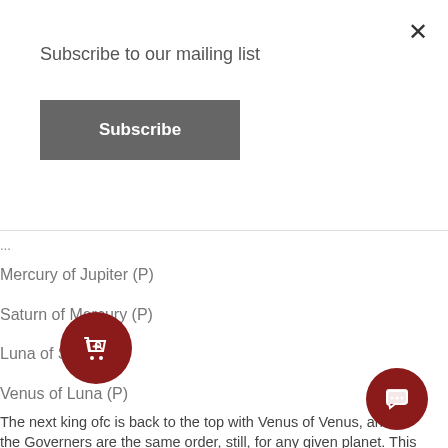Subscribe to our mailing list
Subscribe
...
Mercury of Jupiter (P)
Saturn of Mercury (P)
Luna of Saturn (P)
Venus of Luna (P)
The next king ofc is back to the top with Venus of Venus, and all the Governers are the same order, still, for any given planet. This is all rather similar to how planetary hours work but those use the chaldean order and there are 24 hours per day/night and aside from 'follows a cycle' isn't really relevant.